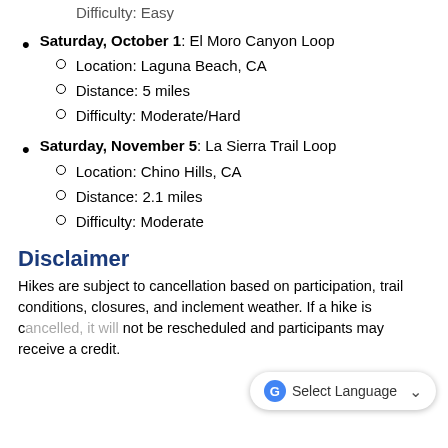Difficulty:  Easy
Saturday, October 1:  El Moro Canyon Loop
Location:  Laguna Beach, CA
Distance:  5 miles
Difficulty:  Moderate/Hard
Saturday, November 5:  La Sierra Trail Loop
Location:  Chino Hills, CA
Distance:  2.1 miles
Difficulty:  Moderate
Disclaimer
Hikes are subject to cancellation based on participation, trail conditions, closures, and inclement weather.  If a hike is cancelled, it will not be rescheduled and participants may receive a credit.